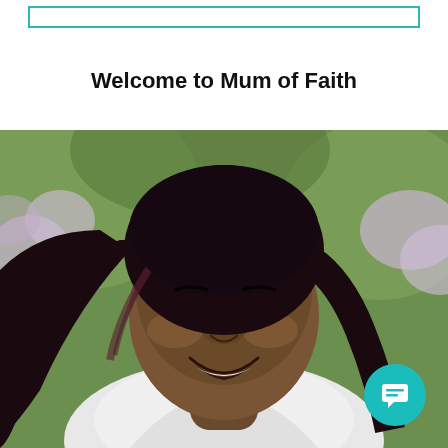[Figure (other): Teal/cyan rectangular border outline near top of page]
Welcome to Mum of Faith
[Figure (photo): Portrait photo of a smiling Black woman with long dark hair blowing in the wind, wearing a white jacket, with soft pink/purple flowers in the background. A teal circular chat button icon appears in the lower right corner.]